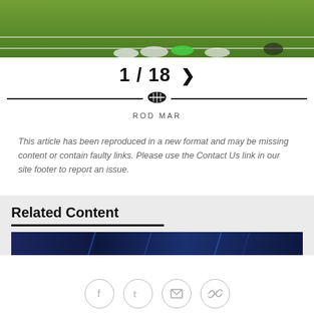[Figure (photo): Sports photo showing a football/soccer field with players' feet and legs visible on green grass with white field lines]
1 / 18 >
ROD MAR
This article has been reproduced in a new format and may be missing content or contain faulty links. Please use the Contact Us link in our site footer to report an issue.
Related Content
[Figure (photo): Dark blue banner image for related content section]